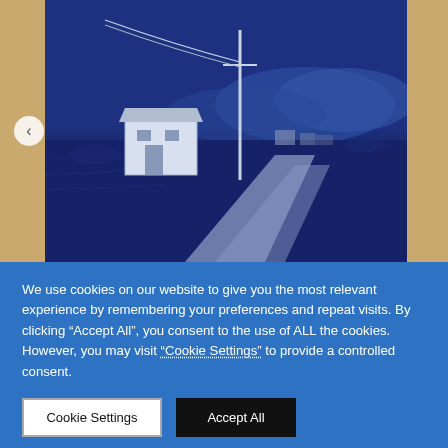[Figure (photo): A website screenshot showing a book with a dark navy/cyanotype cover featuring a black-and-white photograph of a rural scene with a small white building, a dirt road, utility poles, and hills in the background. The book is displayed on a wood-grain surface with navigation arrows. Below is a cookie consent banner.]
We use cookies on our website to give you the most relevant experience by remembering your preferences and repeat visits. By clicking “Accept All”, you consent to the use of ALL the cookies. However, you may visit “Cookie Settings” to provide a controlled consent.
Cookie Settings
Accept All